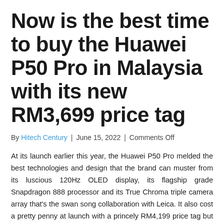Now is the best time to buy the Huawei P50 Pro in Malaysia with its new RM3,699 price tag
By Hitech Century | June 15, 2022 | Comments Off
At its launch earlier this year, the Huawei P50 Pro melded the best technologies and design that the brand can muster from its luscious 120Hz OLED display, its flagship grade Snapdragon 888 processor and its True Chroma triple camera array that's the swan song collaboration with Leica. It also cost a pretty penny at launch with a princely RM4,199 price tag but Huawei Malaysia is now repricing their flagship P50 Pro to a very agreeable